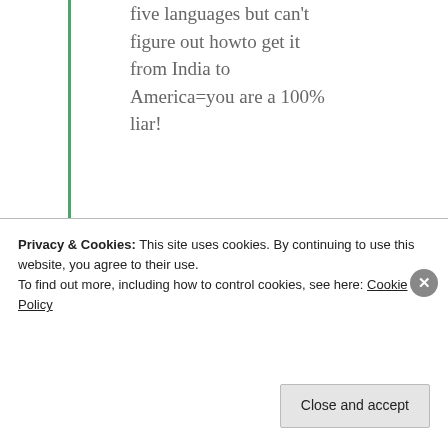five languages but can't figure out howto get it from India to America=you are a 100% liar!
Like
[Figure (illustration): User avatar for mildredprince welch — golden/brown geometric star-shaped badge icon]
mildredprince welch
Privacy & Cookies: This site uses cookies. By continuing to use this website, you agree to their use.
To find out more, including how to control cookies, see here: Cookie Policy
Close and accept